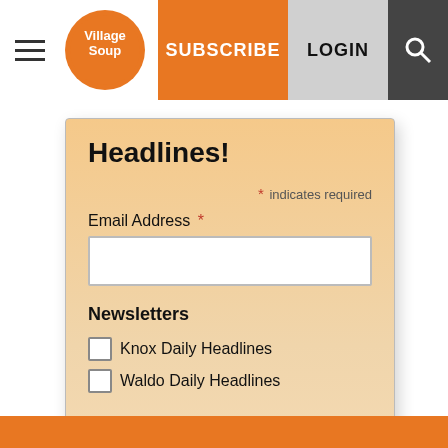[Figure (logo): Village Soup logo — orange circle with white text 'Village Soup']
SUBSCRIBE   LOGIN
Headlines!
* indicates required
Email Address *
Newsletters
Knox Daily Headlines
Waldo Daily Headlines
Subscribe